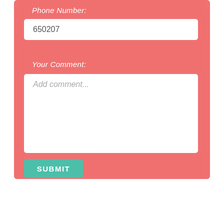Phone Number:
650207
Your Comment:
Add comment...
SUBMIT